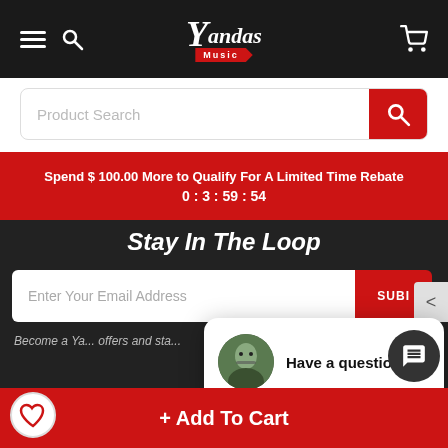[Figure (screenshot): Yandas Music website header with hamburger menu, search icon, logo, and cart icon on dark background]
Product Search
Spend $ 100.00 More to Qualify For A Limited Time Rebate
0 : 3 : 59 : 54
Stay In The Loop
Enter Your Email Address
SUBI
close
Become a Ya... offers and sta...
Have a question?
7 visitors have this item in their cart right now 🛒
+ Add To Cart